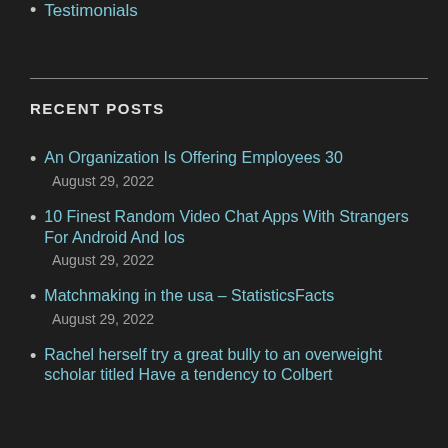Testimonials
RECENT POSTS
An Organization Is Offering Employees 30
August 29, 2022
10 Finest Random Video Chat Apps With Strangers For Android And Ios
August 29, 2022
Matchmaking in the usa – StatisticsFacts
August 29, 2022
Rachel herself try a great bully to an overweight scholar titled Have a tendency to Colbert